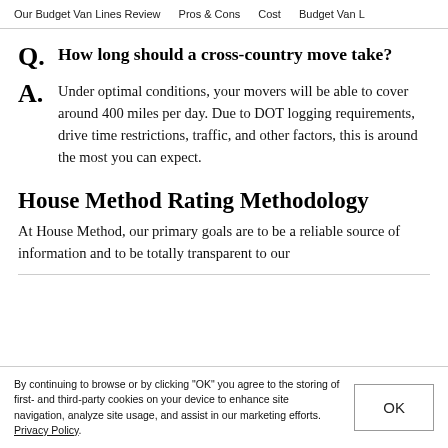Our Budget Van Lines Review  Pros & Cons  Cost  Budget Van L
How long should a cross-country move take?
Under optimal conditions, your movers will be able to cover around 400 miles per day. Due to DOT logging requirements, drive time restrictions, traffic, and other factors, this is around the most you can expect.
House Method Rating Methodology
At House Method, our primary goals are to be a reliable source of information and to be totally transparent to our
By continuing to browse or by clicking "OK" you agree to the storing of first- and third-party cookies on your device to enhance site navigation, analyze site usage, and assist in our marketing efforts. Privacy Policy.